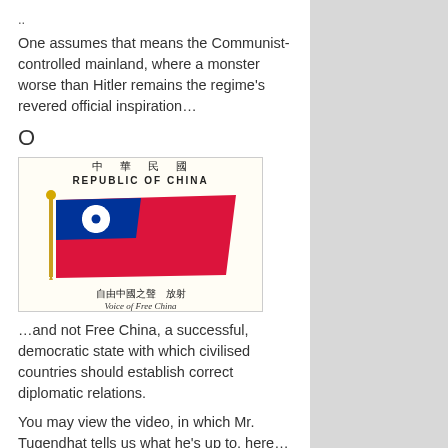..
One assumes that means the Communist-controlled mainland, where a monster worse than Hitler remains the regime's revered official inspiration…
O
[Figure (illustration): Republic of China (Taiwan) flag image with Chinese text 中華民國, REPUBLIC OF CHINA in English, and 自由中國之聲 Voice of Free China below the flag.]
…and not Free China, a successful, democratic state with which civilised countries should establish correct diplomatic relations.
You may view the video, in which Mr. Tugendhat tells us what he's up to, here…
https://www.channel4.com/news/scientists-calling-out-the-accurate-figures-are-silenced-tory-mp-tom-tugendhat-on-chinas-handling-of-covid-19